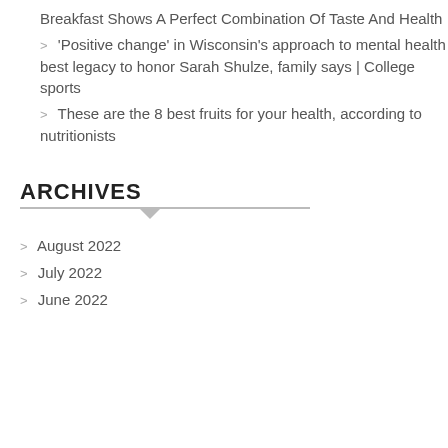Breakfast Shows A Perfect Combination Of Taste And Health
'Positive change' in Wisconsin's approach to mental health best legacy to honor Sarah Shulze, family says | College sports
These are the 8 best fruits for your health, according to nutritionists
ARCHIVES
August 2022
July 2022
June 2022